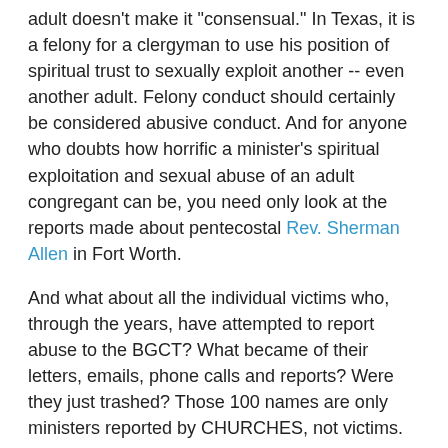adult doesn't make it "consensual." In Texas, it is a felony for a clergyman to use his position of spiritual trust to sexually exploit another -- even another adult. Felony conduct should certainly be considered abusive conduct. And for anyone who doubts how horrific a minister's spiritual exploitation and sexual abuse of an adult congregant can be, you need only look at the reports made about pentecostal Rev. Sherman Allen in Fort Worth.
And what about all the individual victims who, through the years, have attempted to report abuse to the BGCT? What became of their letters, emails, phone calls and reports? Were they just trashed? Those 100 names are only ministers reported by CHURCHES, not victims. How do people imagine that they will ever find out about clergy child molesters if there is no one to hear the victims when they try to report the molesters and no one to determine anything or tell other congregations about it? The BGCT hasn't remedied that problem at all, and it's why so many Baptist clergy child molesters are still able to move from church to church.
It's troubling that a Baptist ethicist would characterize the